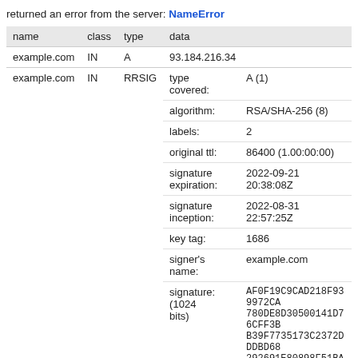returned an error from the server: NameError
| name | class | type | data |
| --- | --- | --- | --- |
| example.com | IN | A | 93.184.216.34 |
| example.com | IN | RRSIG | type covered: A (1)
algorithm: RSA/SHA-256 (8)
labels: 2
original ttl: 86400 (1.00:00:00)
signature expiration: 2022-09-21 20:38:08Z
signature inception: 2022-08-31 22:57:25Z
key tag: 1686
signer's name: example.com
signature (1024 bits): AF0F19C9CAD218F939972CA780DE8D30500141D76CFF3BB39F7735173C2372DDDBD68292691E80898F51BADC4F3CF74A09BBD735A44A1F4930B45410CA7E63579FD574EEE4DF1B160AF398D1D9BB578B7 |